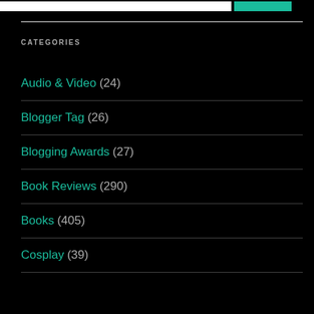CATEGORIES
Audio & Video (24)
Blogger Tag (26)
Blogging Awards (27)
Book Reviews (290)
Books (405)
Cosplay (39)